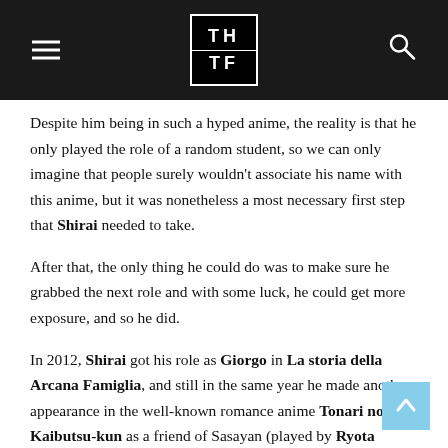THTF
Despite him being in such a hyped anime, the reality is that he only played the role of a random student, so we can only imagine that people surely wouldn't associate his name with this anime, but it was nonetheless a most necessary first step that Shirai needed to take.
After that, the only thing he could do was to make sure he grabbed the next role and with some luck, he could get more exposure, and so he did.
In 2012, Shirai got his role as Giorgo in La storia della Arcana Famiglia, and still in the same year he made another appearance in the well-known romance anime Tonari no Kaibutsu-kun as a friend of Sasayan (played by Ryota Osaka) from the baseball team.